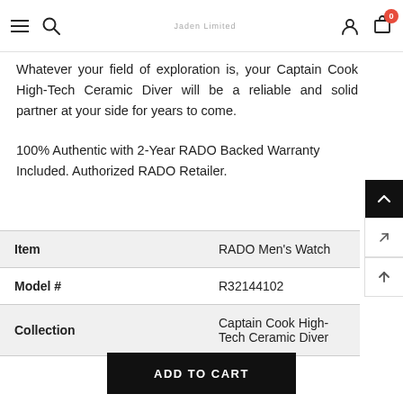Navigation bar with menu, search, logo, user and cart icons (0 items)
Whatever your field of exploration is, your Captain Cook High-Tech Ceramic Diver will be a reliable and solid partner at your side for years to come.
100% Authentic with 2-Year RADO Backed Warranty Included. Authorized RADO Retailer.
| Item |  |
| --- | --- |
| Item | RADO Men's Watch |
| Model # | R32144102 |
| Collection | Captain Cook High-Tech Ceramic Diver |
ADD TO CART